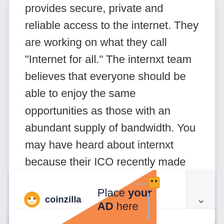Internxt is a decentralized internets company that provides secure, private and reliable access to the internet. They are working on what they call "Internet for all." The internxt team believes that everyone should be able to enjoy the same opportunities as those with an abundant supply of bandwidth. You may have heard about internxt because their ICO recently made headlines due to its rapid success. They raised over $21 million in less than 24 hours!
[Figure (other): Coinzilla advertisement banner with logo, 'Place your AD here' text, orange triangle graphic, and a cartoon character. Has a chevron/collapse button on the right.]